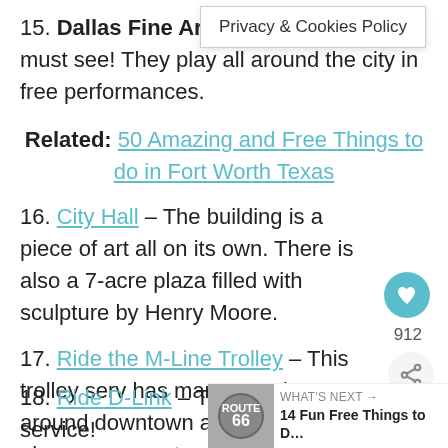15. Dallas Fine Art – These guys are a must see! They play all around the city in free performances.
Related: 50 Amazing and Free Things to do in Fort Worth Texas
16. City Hall – The building is a piece of art all on its own. There is also a 7-acre plaza filled with sculpture by Henry Moore.
17. Ride the M-Line Trolley – This trolley serv... has many popular stops around downtown and it... free to ride plus you can get a great to...
18. Ride D-Link – This is another free service!